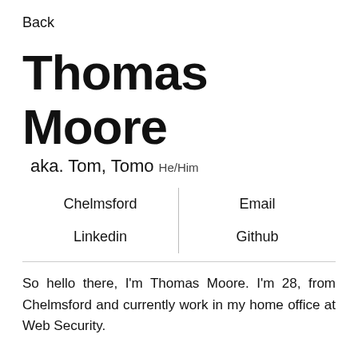Back
Thomas Moore
aka. Tom, Tomo He/Him
| Chelmsford | Email |
| Linkedin | Github |
So hello there, I'm Thomas Moore. I'm 28, from Chelmsford and currently work in my home office at Web Security.